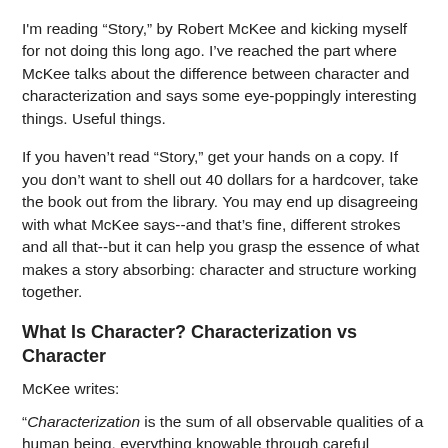I'm reading “Story,” by Robert McKee and kicking myself for not doing this long ago. I’ve reached the part where McKee talks about the difference between character and characterization and says some eye-poppingly interesting things. Useful things.
If you haven’t read “Story,” get your hands on a copy. If you don’t want to shell out 40 dollars for a hardcover, take the book out from the library. You may end up disagreeing with what McKee says--and that’s fine, different strokes and all that--but it can help you grasp the essence of what makes a story absorbing: character and structure working together.
What Is Character? Characterization vs Character
McKee writes:
“Characterization is the sum of all observable qualities of a human being, everything knowable through careful scrutiny: